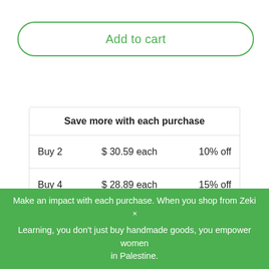Add to cart
| Save more with each purchase |  |  |
| --- | --- | --- |
| Buy 2 | $ 30.59 each | 10% off |
| Buy 4 | $ 28.89 each | 15% off |
[Figure (illustration): Four circular icons with blue borders: globe with chat bubbles (orange), open book (pink/red), hand with gear (orange/pink), brain with circular arrows (pink/red)]
Make an impact with each purchase. When you shop from Zeki Learning, you don't just buy handmade goods, you empower women in Palestine.